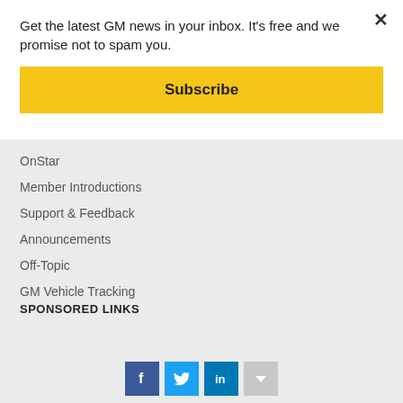Get the latest GM news in your inbox. It's free and we promise not to spam you.
Subscribe
OnStar
Member Introductions
Support & Feedback
Announcements
Off-Topic
GM Vehicle Tracking
SPONSORED LINKS
[Figure (other): Social share icons: Facebook, Twitter, LinkedIn, and a gray down-arrow button]